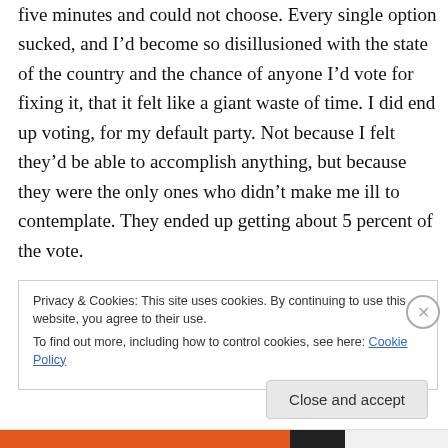five minutes and could not choose. Every single option sucked, and I'd become so disillusioned with the state of the country and the chance of anyone I'd vote for fixing it, that it felt like a giant waste of time. I did end up voting, for my default party. Not because I felt they'd be able to accomplish anything, but because they were the only ones who didn't make me ill to contemplate. They ended up getting about 5 percent of the vote.
Privacy & Cookies: This site uses cookies. By continuing to use this website, you agree to their use.
To find out more, including how to control cookies, see here: Cookie Policy